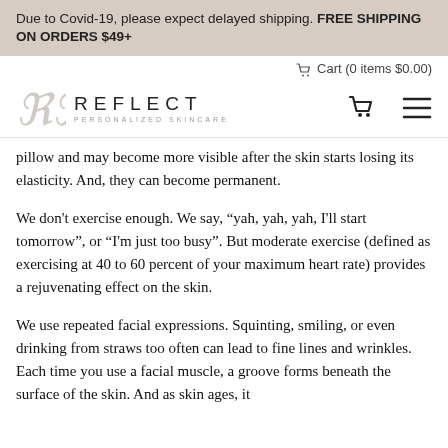Due to Covid-19, please expect delayed shipping. FREE SHIPPING ON ORDERS $49+
Cart (0 items $0.00)
[Figure (logo): Reflect Personalized Skincare logo with stylized RR monogram and cart/hamburger menu icons]
pillow and may become more visible after the skin starts losing its elasticity. And, they can become permanent.
We don't exercise enough. We say, “yah, yah, yah, I'll start tomorrow”, or “I'm just too busy”. But moderate exercise (defined as exercising at 40 to 60 percent of your maximum heart rate) provides a rejuvenating effect on the skin.
We use repeated facial expressions. Squinting, smiling, or even drinking from straws too often can lead to fine lines and wrinkles. Each time you use a facial muscle, a groove forms beneath the surface of the skin. And as skin ages, it